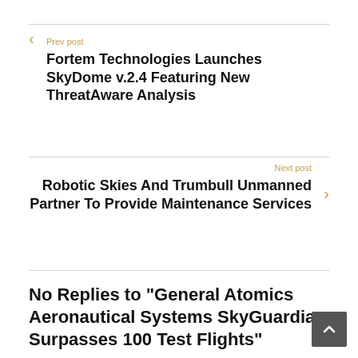Prev post
Fortem Technologies Launches SkyDome v.2.4 Featuring New ThreatAware Analysis
Next post
Robotic Skies And Trumbull Unmanned Partner To Provide Maintenance Services
No Replies to "General Atomics Aeronautical Systems SkyGuardian Surpasses 100 Test Flights"